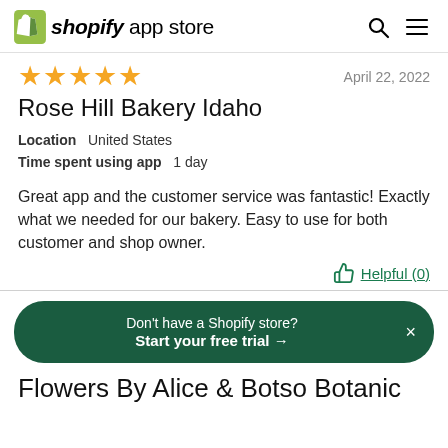shopify app store
★★★★★   April 22, 2022
Rose Hill Bakery Idaho
Location   United States
Time spent using app   1 day
Great app and the customer service was fantastic! Exactly what we needed for our bakery. Easy to use for both customer and shop owner.
Helpful (0)
Don't have a Shopify store? Start your free trial →
Flowers By Alice & Botso Botanic